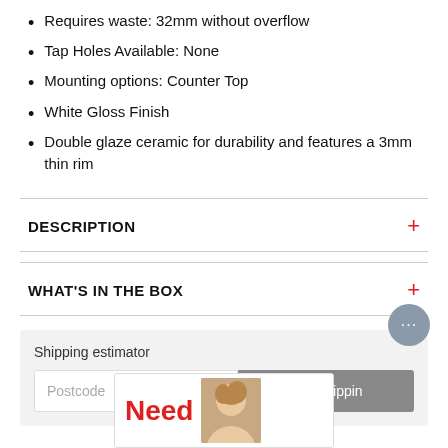Requires waste: 32mm without overflow
Tap Holes Available: None
Mounting options: Counter Top
White Gloss Finish
Double glaze ceramic for durability and features a 3mm thin rim
DESCRIPTION
WHAT'S IN THE BOX
Shipping estimator
Postcode
Calculate shipping
Need